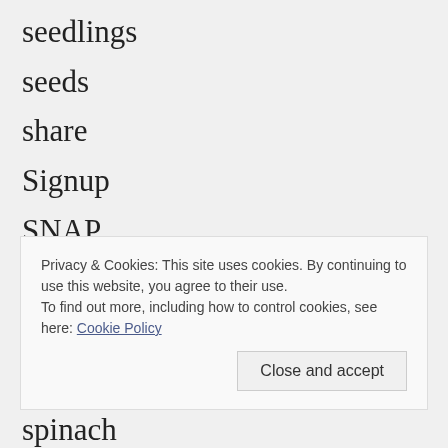seedlings
seeds
share
Signup
SNAP
snow
snow peas
soil blocks
Privacy & Cookies: This site uses cookies. By continuing to use this website, you agree to their use.
To find out more, including how to control cookies, see here: Cookie Policy
spinach